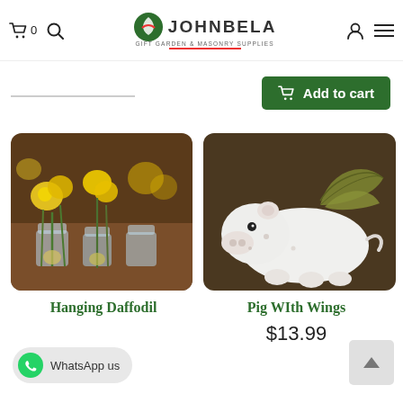Johnbela Gift Garden & Masonry Supplies — header with cart, search, logo, user, menu icons
[Figure (screenshot): Green Add to cart button with cart icon]
[Figure (photo): Yellow daffodil flowers in glass vases on a wooden table — product photo for Hanging Daffodil]
[Figure (photo): White ceramic flying pig figurine with olive-colored wings on a dark background — product photo for Pig With Wings]
Hanging Daffodil
Pig WIth Wings
$13.99
WhatsApp us